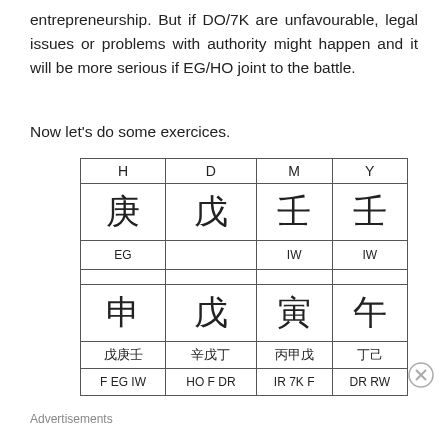entrepreneurship. But if DO/7K are unfavourable, legal issues or problems with authority might happen and it will be more serious if EG/HO joint to the battle.
Now let's do some exercices.
| H | D | M | Y |
| --- | --- | --- | --- |
| 庚 | 戊 | 壬 | 壬 |
| EG |  | IW | IW |
|  |  |  |  |
| 申 | 戊 | 寅 | 午 |
| 戊庚壬 | 辛戊丁 | 丙甲戊 | 丁己 |
| F EG IW | HO F DR | IR 7K F | DR RW |
Advertisements